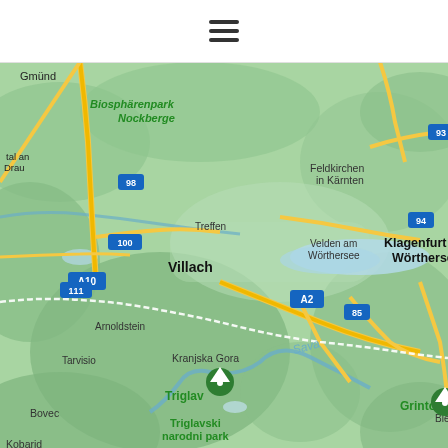[Figure (other): Hamburger menu icon (three horizontal lines) in a white header bar]
[Figure (map): Google Maps style map showing the Carinthia/Slovenia border region including cities: Gmünd, Althofen, Sankt Veit an der Glan, Feldkirchen in Kärnten, Treffen, Villach, Velden am Wörthersee, Klagenfurt am Wörthersee, Völkermarkt, Arnoldstein, Ferlach, Tarvisio, Kranjska Gora, Bovec, Bled, Kobarid, Grintovec, Kranj; rivers: Sava, Drau; parks: Biosphärenpark Nockberge, Triglavski narodni park (Triglav); roads: A10, A2, 93, 94, 98, 100, 111, 85, 82, 317, S37, E652; mountain markers for Triglav and Grintovec]